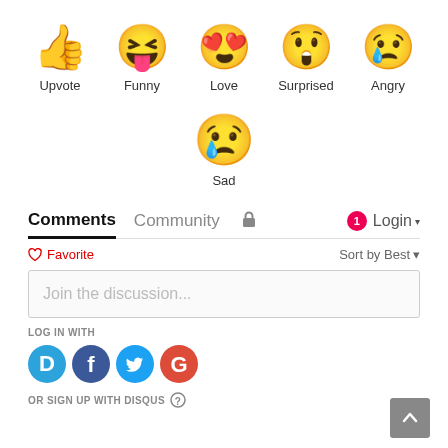[Figure (illustration): Row of 5 emoji reactions: thumbs up (Upvote), laughing with tongue out (Funny), heart eyes smiling (Love), surprised open mouth (Surprised), crying angry (Angry)]
[Figure (illustration): Single emoji: crying sad face (Sad)]
Comments  Community  🔒  1  Login ▾
♡ Favorite    Sort by Best ▾
Join the discussion...
LOG IN WITH
[Figure (logo): Social login icons: Disqus (D), Facebook (f), Twitter (bird), Google (G)]
OR SIGN UP WITH DISQUS ?